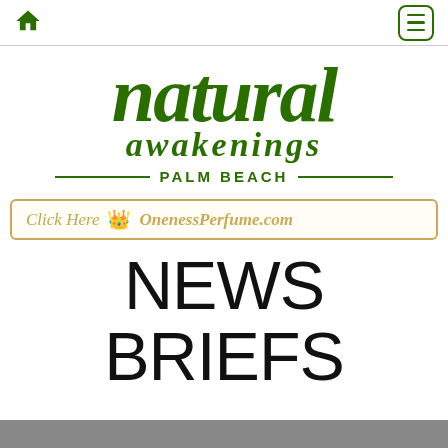Natural Awakenings Palm Beach - navigation bar with home icon and menu button
[Figure (logo): Natural Awakenings Palm Beach logo — large italic green text 'natural' above 'awakenings' with 'PALM BEACH' centered below flanked by horizontal green lines]
[Figure (other): Advertisement banner: 'Click Here' with a decorative crown/perfume icon and 'OnenessPerfume.com' in gold/tan italic text, gold border]
NEWS BRIEFS
[Figure (photo): Partial image visible at bottom of page, mostly cropped]